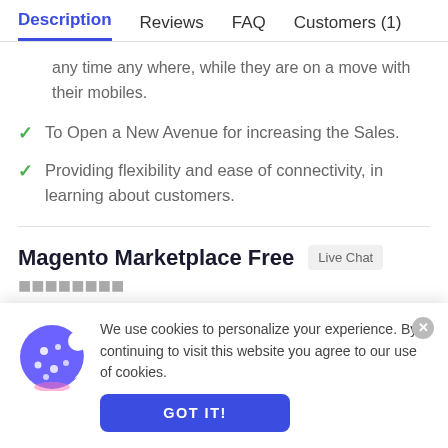Description | Reviews | FAQ | Customers (1)
any time any where, while they are on a move with their mobiles.
To Open a New Avenue for increasing the Sales.
Providing flexibility and ease of connectivity, in learning about customers.
Magento Marketplace Free
We use cookies to personalize your experience. By continuing to visit this website you agree to our use of cookies.